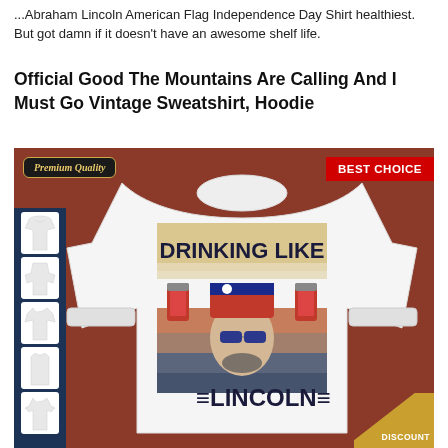...Abraham Lincoln American Flag Independence Day Shirt healthiest. But got damn if it doesn't have an awesome shelf life.
Official Good The Mountains Are Calling And I Must Go Vintage Sweatshirt, Hoodie
[Figure (photo): Product photo of a white long-sleeve sweatshirt with a vintage graphic of Abraham Lincoln wearing an American flag hat and beer can holder, text reading DRINKING LIKE LINCOLN. Image shows Premium Quality badge in top left, BEST CHOICE banner in top right, garment style variants on left side, and a DISCOUNT badge in bottom right corner.]